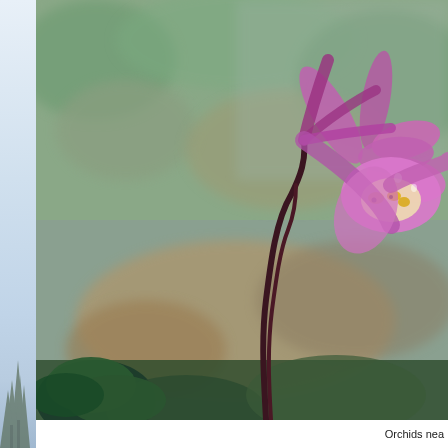[Figure (photo): Left strip showing a pale blue-grey sky with faint tree silhouettes at the bottom, forming a narrow vertical band on the left edge of the page.]
[Figure (photo): Close-up photograph of a pink/purple fairy slipper orchid (Calypso bulbosa) with a dark maroon curved stem, pink petals, and yellow-spotted lip, against a blurred green and brown forest floor background.]
Orchids nea